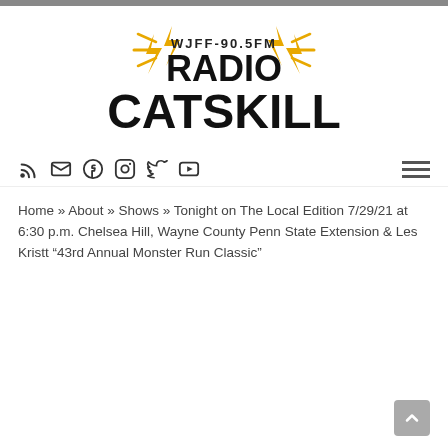[Figure (logo): WJFF-90.5FM Radio Catskill logo with lightning bolt decorations and bold black text]
[Figure (infographic): Social media icons row: RSS, email, Facebook, Instagram, Twitter, YouTube; hamburger menu on right]
Home » About » Shows » Tonight on The Local Edition 7/29/21 at 6:30 p.m. Chelsea Hill, Wayne County Penn State Extension & Les Kristt “43rd Annual Monster Run Classic”